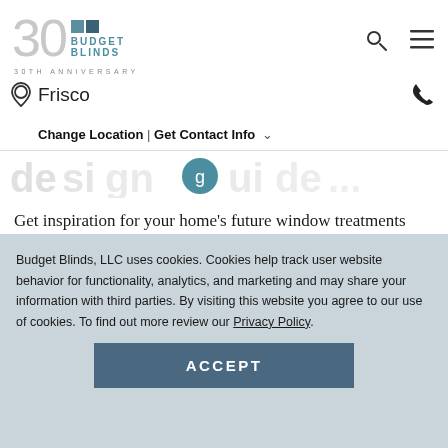Budget Blinds 30th Anniversary — Frisco
Change Location | Get Contact Info
[Figure (screenshot): Partially visible decorative title text with a blue circular icon in the center]
Get inspiration for your home's future window treatments with our Design Guide from the comfort of your laptop or mobile device.
Budget Blinds, LLC uses cookies. Cookies help track user website behavior for functionality, analytics, and marketing and may share your information with third parties. By visiting this website you agree to our use of cookies. To find out more review our Privacy Policy.
ACCEPT